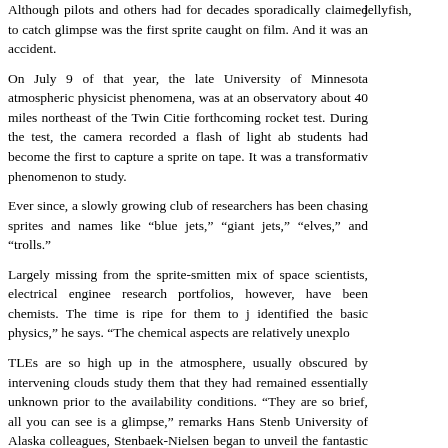jellyfish,
Although pilots and others had for decades sporadically claimed to catch glimpses was the first sprite caught on film. And it was an accident.
On July 9 of that year, the late University of Minnesota atmospheric physicist phenomena, was at an observatory about 40 miles northeast of the Twin Cities forthcoming rocket test. During the test, the camera recorded a flash of light ab students had become the first to capture a sprite on tape. It was a transformativ phenomenon to study.
Ever since, a slowly growing club of researchers has been chasing sprites and names like "blue jets," "giant jets," "elves," and "trolls."
Largely missing from the sprite-smitten mix of space scientists, electrical enginee research portfolios, however, have been chemists. The time is ripe for them to j identified the basic physics," he says. "The chemical aspects are relatively unexplo
TLEs are so high up in the atmosphere, usually obscured by intervening clouds study them that they had remained essentially unknown prior to the availability conditions. "They are so brief, all you can see is a glimpse," remarks Hans Stenb University of Alaska colleagues, Stenbaek-Nielsen began to unveil the fantastic them with high-speed cameras at rates up to 1,000 frames per second.
In the Feb. 22 Geophysical Research Letters (2006, 33, LO4104), electrical er coworkers reported video observations of scores of sprites made in the foothills o The scientists captured the images this past summer from a perch at the Yuc electronic camera designed to study fast phenomena like explosions. The fastest stretching one second of normal-speed video into about five minutes of super-slo millisecond.
Sprites are thrilling to anyone who sees one. High-speed video recordings revea propagate and branch at faster-than-lightning speed both upward and downwa mesosphere at altitudes of 80 or 90 km. To get to the stratosphere from these init